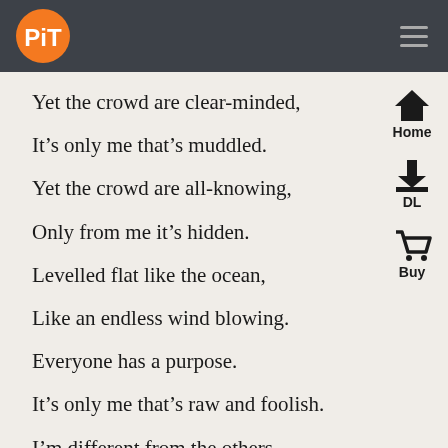PiT
Yet the crowd are clear-minded,
It’s only me that’s muddled.
Yet the crowd are all-knowing,
Only from me it’s hidden.
Levelled flat like the ocean,
Like an endless wind blowing.
Everyone has a purpose.
It’s only me that’s raw and foolish.
I’m different from the others.
I like being fed by the Mother!